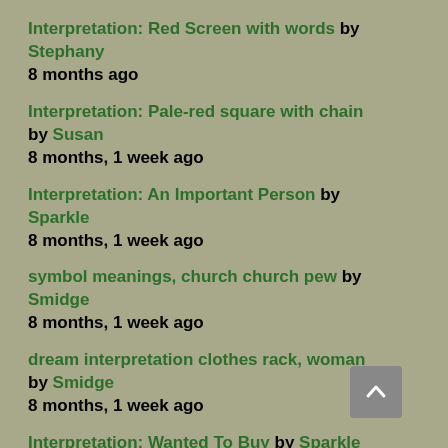Interpretation: Red Screen with words by Stephany
8 months ago
Interpretation: Pale-red square with chain by Susan
8 months, 1 week ago
Interpretation: An Important Person by Sparkle
8 months, 1 week ago
symbol meanings, church church pew by Smidge
8 months, 1 week ago
dream interpretation clothes rack, woman by Smidge
8 months, 1 week ago
Interpretation: Wanted To Buy by Sparkle
8 months, 1 week ago